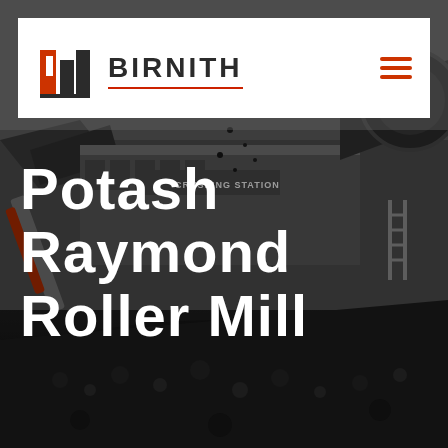[Figure (photo): Industrial crushing station machinery with conveyor belts, heavy equipment, and coal/rock aggregate in the foreground. Dark, moody photography of mining/quarry equipment.]
BIRNITH
Potash Raymond Roller Mill